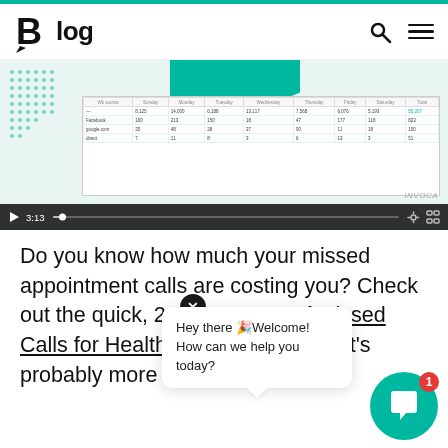Blog
[Figure (screenshot): Video player showing a data analytics table screenshot with teal chart elements. Video duration 3:13.]
Do you know how much your missed appointment calls are costing you? Check out the quick, 2-minute Cost of Missed Calls for Healthcare Calculator — it's probably more than you think
[Figure (other): Chat widget popup: Hey there Welcome! How can we help you today? With a teal chat bubble and red notification badge showing 1.]